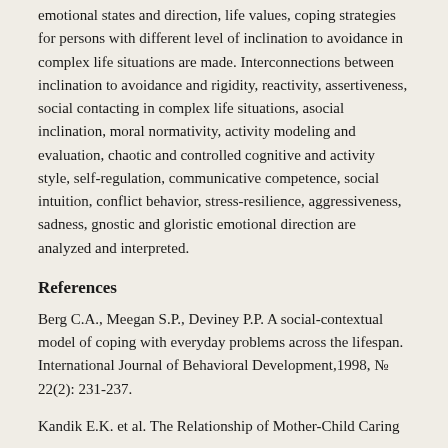emotional states and direction, life values, coping strategies for persons with different level of inclination to avoidance in complex life situations are made. Interconnections between inclination to avoidance and rigidity, reactivity, assertiveness, social contacting in complex life situations, asocial inclination, moral normativity, activity modeling and evaluation, chaotic and controlled cognitive and activity style, self-regulation, communicative competence, social intuition, conflict behavior, stress-resilience, aggressiveness, sadness, gnostic and gloristic emotional direction are analyzed and interpreted.
References
Berg C.A., Meegan S.P., Deviney P.P. A social-contextual model of coping with everyday problems across the lifespan. International Journal of Behavioral Development,1998, № 22(2): 231-237.
Kandik E.K. et al. The Relationship of Mother-Child Caring...